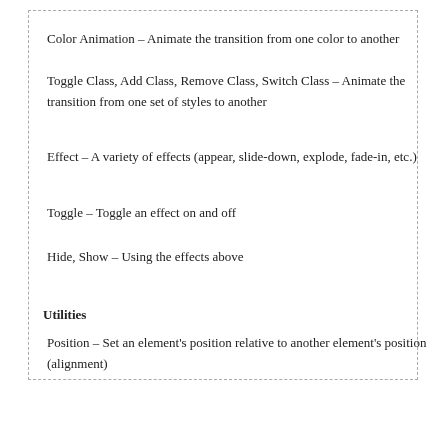Color Animation – Animate the transition from one color to another
Toggle Class, Add Class, Remove Class, Switch Class – Animate the transition from one set of styles to another
Effect – A variety of effects (appear, slide-down, explode, fade-in, etc.)
Toggle – Toggle an effect on and off
Hide, Show – Using the effects above
Utilities
Position – Set an element's position relative to another element's position (alignment)